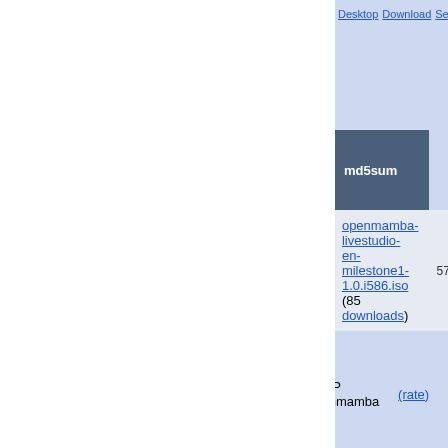Desktop   Download   Search   In...
| openmamba-livestudio-milestone1-1.0 | md5sum |
| --- | --- |
| ISO 1  openmamba-livestudio-en-milestone1-1.0.i586.iso (85 downloads) | 574b5713ab67c44867cfeebf8... |
Italy
40%  HTTP  openmamba  (rate)   Download
| penmamba-ivecd-milestone1-1.0 | md5sum |
| --- | --- |
| ISO  openmamba-livecd-en-milestone1- | 45b7aa42a10b500201a222f0... |